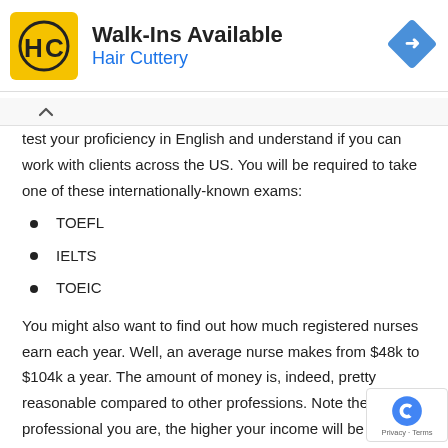[Figure (logo): Hair Cuttery advertisement banner with HC logo, 'Walk-Ins Available' title, and a blue diamond arrow icon]
test your proficiency in English and understand if you can work with clients across the US. You will be required to take one of these internationally-known exams:
TOEFL
IELTS
TOEIC
You might also want to find out how much registered nurses earn each year. Well, an average nurse makes from $48k to $104k a year. The amount of money is, indeed, pretty reasonable compared to other professions. Note the more professional you are, the higher your income will be